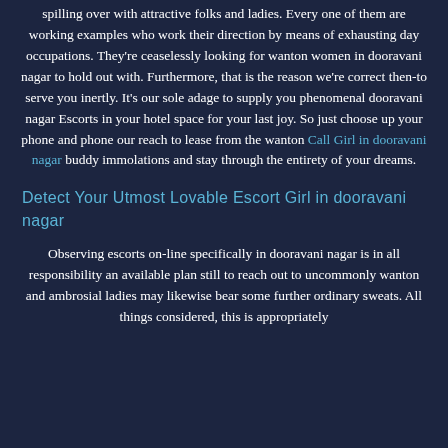spilling over with attractive folks and ladies. Every one of them are working examples who work their direction by means of exhausting day occupations. They're ceaselessly looking for wanton women in dooravani nagar to hold out with. Furthermore, that is the reason we're correct then-to serve you inertly. It's our sole adage to supply you phenomenal dooravani nagar Escorts in your hotel space for your last joy. So just choose up your phone and phone our reach to lease from the wanton Call Girl in dooravani nagar buddy immolations and stay through the entirety of your dreams.
Detect Your Utmost Lovable Escort Girl in dooravani nagar
Observing escorts on-line specifically in dooravani nagar is in all responsibility an available plan still to reach out to uncommonly wanton and ambrosial ladies may likewise bear some further ordinary sweats. All things considered, this is appropriately